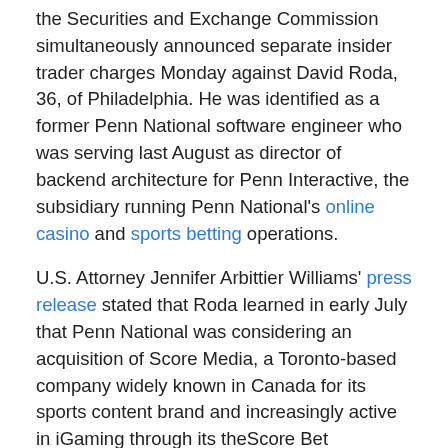the Securities and Exchange Commission simultaneously announced separate insider trader charges Monday against David Roda, 36, of Philadelphia. He was identified as a former Penn National software engineer who was serving last August as director of backend architecture for Penn Interactive, the subsidiary running Penn National's online casino and sports betting operations.
U.S. Attorney Jennifer Arbittier Williams' press release stated that Roda learned in early July that Penn National was considering an acquisition of Score Media, a Toronto-based company widely known in Canada for its sports content brand and increasingly active in iGaming through its theScore Bet operation. The $2 billion acquisition of Score Media by PNG was disclosed publicly on Aug. 5, with Score Media's stock price increasing nearly 80% after the announcement.